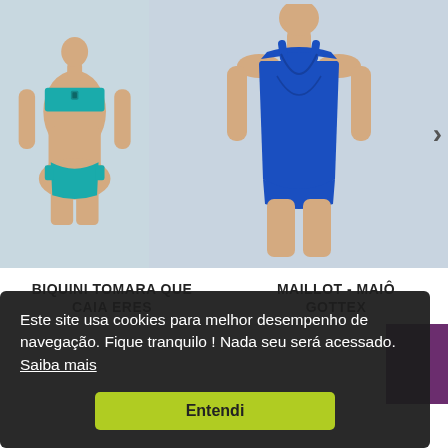[Figure (photo): Left product photo: mannequin wearing teal/turquoise bandeau bikini top and bottoms on light grey background]
[Figure (photo): Right product photo: mannequin wearing royal blue halter-neck one-piece swimsuit on light grey background, with right arrow navigation button]
BIQUINI TOMARA QUE CAIA ERES
MAILLOT - MAIÔ GOTTEX
Este site usa cookies para melhor desempenho de navegação. Fique tranquilo ! Nada seu será acessado.  Saiba mais
Entendi